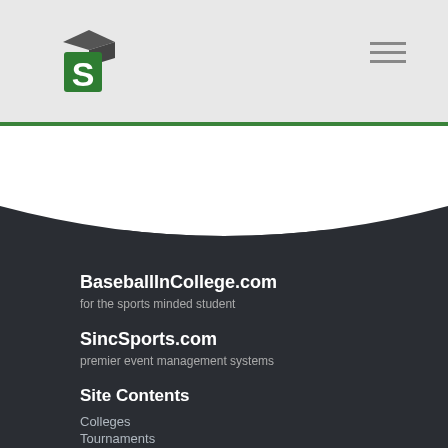[Figure (logo): Scholarships.com or similar sports education site logo — stylized green S with graduation cap]
[Figure (other): Hamburger menu icon (three horizontal lines) in top right of header]
BaseballInCollege.com
for the sports minded student
SincSports.com
premier event management systems
Site Contents
Colleges
Tournaments
Leagues
Clubs & Teams
Athletes